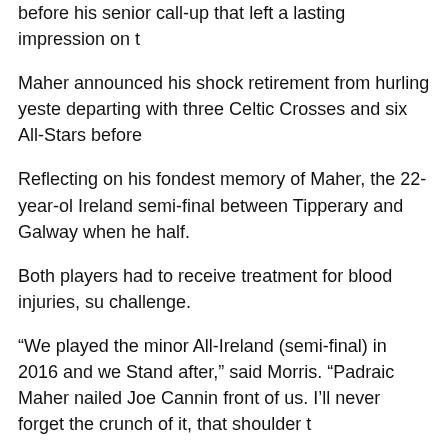before his senior call-up that left a lasting impression on t
Maher announced his shock retirement from hurling yeste departing with three Celtic Crosses and six All-Stars before
Reflecting on his fondest memory of Maher, the 22-year-ol Ireland semi-final between Tipperary and Galway when he half.
Both players had to receive treatment for blood injuries, su challenge.
“We played the minor All-Ireland (semi-final) in 2016 and we Stand after,” said Morris. “Padraic Maher nailed Joe Cannin front of us. I’ll never forget the crunch of it, that shoulder t
“I was called into the Tipp team in 2018 and I remember thi old that I’d better not go near Padraic Maher or he’ll throw fond memory of him. That shoulder, which was the turning